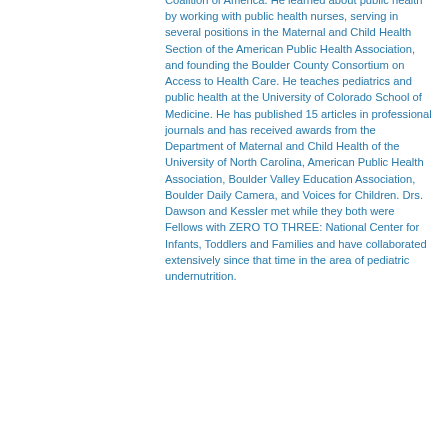Coalition of America. He learned about public health by working with public health nurses, serving in several positions in the Maternal and Child Health Section of the American Public Health Association, and founding the Boulder County Consortium on Access to Health Care. He teaches pediatrics and public health at the University of Colorado School of Medicine. He has published 15 articles in professional journals and has received awards from the Department of Maternal and Child Health of the University of North Carolina, American Public Health Association, Boulder Valley Education Association, Boulder Daily Camera, and Voices for Children. Drs. Dawson and Kessler met while they both were Fellows with ZERO TO THREE: National Center for Infants, Toddlers and Families and have collaborated extensively since that time in the area of pediatric undernutrition.